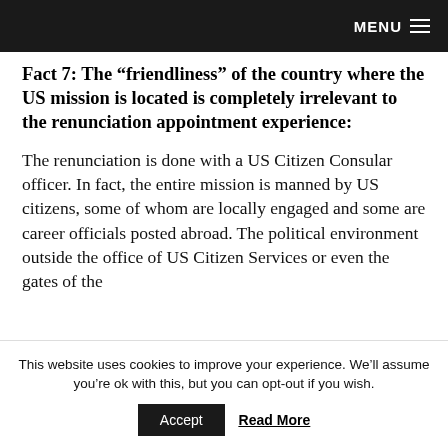MENU ☰
Fact 7: The “friendliness” of the country where the US mission is located is completely irrelevant to the renunciation appointment experience:
The renunciation is done with a US Citizen Consular officer. In fact, the entire mission is manned by US citizens, some of whom are locally engaged and some are career officials posted abroad. The political environment outside the office of US Citizen Services or even the gates of the
This website uses cookies to improve your experience. We’ll assume you’re ok with this, but you can opt-out if you wish.
Accept   Read More